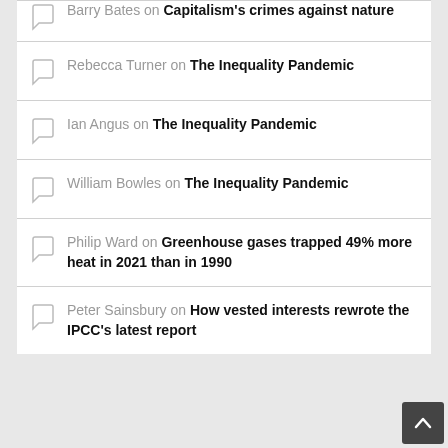Barry Bates on Capitalism's crimes against nature
Rebecca Turner on The Inequality Pandemic
Ian Angus on The Inequality Pandemic
William Bowles on The Inequality Pandemic
Philip Ward on Greenhouse gases trapped 49% more heat in 2021 than in 1990
Peter Sainsbury on How vested interests rewrote the IPCC's latest report